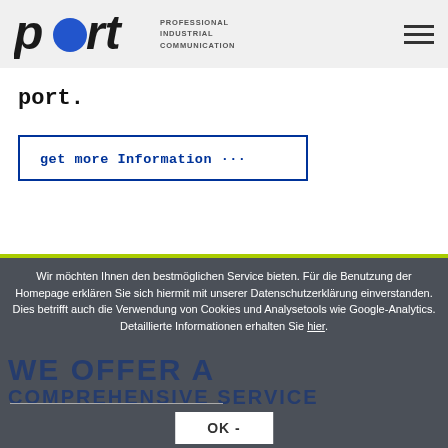port. PROFESSIONAL INDUSTRIAL COMMUNICATION
port.
get more Information →
Wir möchten Ihnen den bestmöglichen Service bieten. Für die Benutzung der Homepage erklären Sie sich hiermit mit unserer Datenschutzerklärung einverstanden. Dies betrifft auch die Verwendung von Cookies und Analysetools wie Google-Analytics. Detaillierte Informationen erhalten Sie hier.
WE OFFER A COMPREHENSIVE SERVICE
OK -